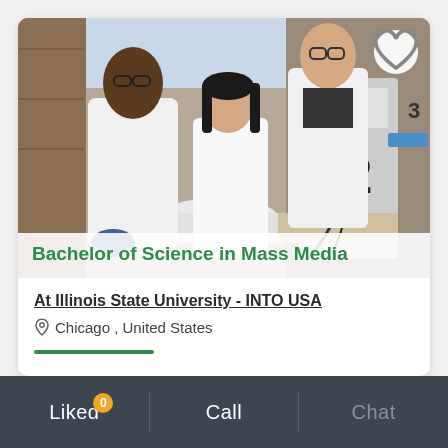[Figure (photo): Three people in white lab coats working with laboratory equipment; text overlay reads 'Bachelor of Science in Mass Media']
At Illinois State University - INTO USA
Chicago , United States
Liked  0   Call   Chat